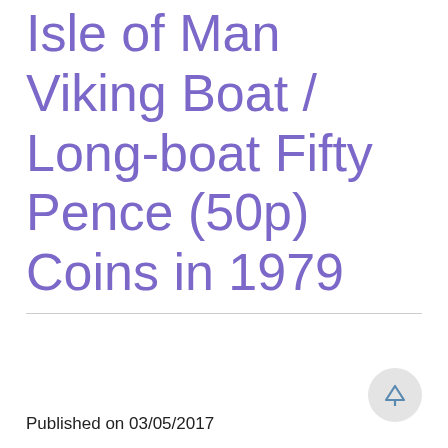Isle of Man Viking Boat / Long-boat Fifty Pence (50p) Coins in 1979
Published on 03/05/2017